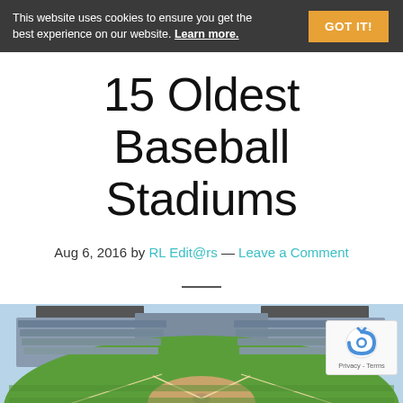This website uses cookies to ensure you get the best experience on our website. Learn more. GOT IT!
15 Oldest Baseball Stadiums
Aug 6, 2016 by RL Edit@rs — Leave a Comment
[Figure (photo): Aerial view of a baseball stadium showing green field, seating stands, and upper deck structure]